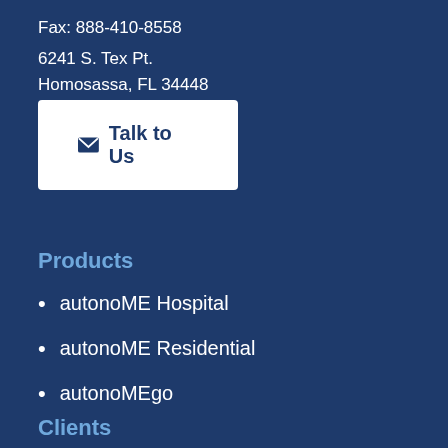Fax: 888-410-8558
6241 S. Tex Pt.
Homosassa, FL 34448
✉ Talk to Us
Products
autonoME Hospital
autonoME Residential
autonoMEgo
Clients